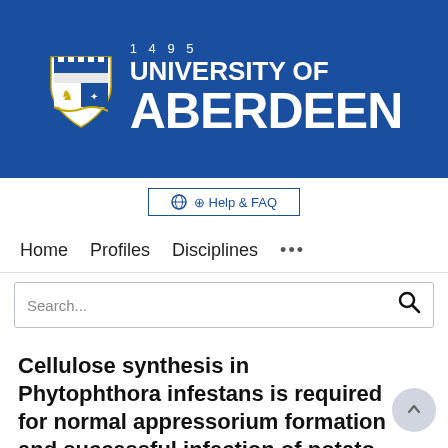[Figure (logo): University of Aberdeen logo: blue banner with white coat of arms/crest shield and text '1495 UNIVERSITY OF ABERDEEN' in white on blue background]
[Figure (screenshot): Help & FAQ button with globe/info icon, blue border, blue text on white background]
Home   Profiles   Disciplines   ...
Search...
Cellulose synthesis in Phytophthora infestans is required for normal appressorium formation and successful infection of potato